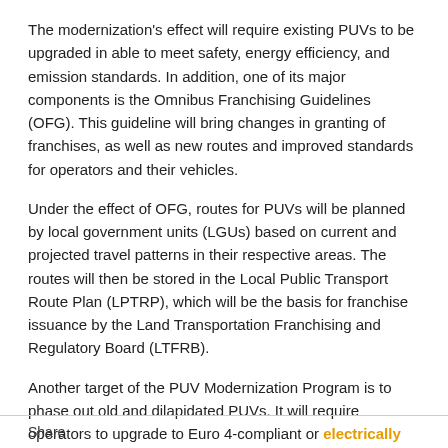The modernization's effect will require existing PUVs to be upgraded in able to meet safety, energy efficiency, and emission standards. In addition, one of its major components is the Omnibus Franchising Guidelines (OFG). This guideline will bring changes in granting of franchises, as well as new routes and improved standards for operators and their vehicles.
Under the effect of OFG, routes for PUVs will be planned by local government units (LGUs) based on current and projected travel patterns in their respective areas. The routes will then be stored in the Local Public Transport Route Plan (LPTRP), which will be the basis for franchise issuance by the Land Transportation Franchising and Regulatory Board (LTFRB).
Another target of the PUV Modernization Program is to phase out old and dilapidated PUVs. It will require operators to upgrade to Euro 4-compliant or electrically powered
Share